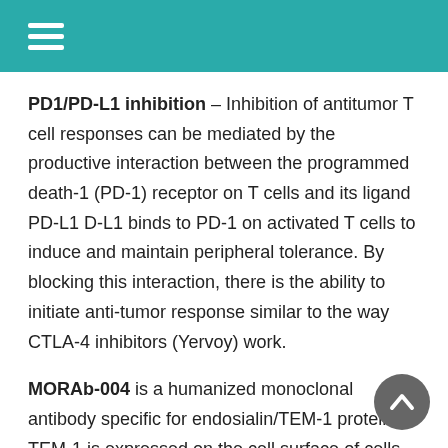☰
PD1/PD-L1 inhibition – Inhibition of antitumor T cell responses can be mediated by the productive interaction between the programmed death-1 (PD-1) receptor on T cells and its ligand PD-L1 D-L1 binds to PD-1 on activated T cells to induce and maintain peripheral tolerance. By blocking this interaction, there is the ability to initiate anti-tumor response similar to the way CTLA-4 inhibitors (Yervoy) work.
MORAb-004 is a humanized monoclonal antibody specific for endosialin/TEM-1 protein. TEM-1 is expressed on the cell surface of cells called pericytes that are part of the tumor blood vessel